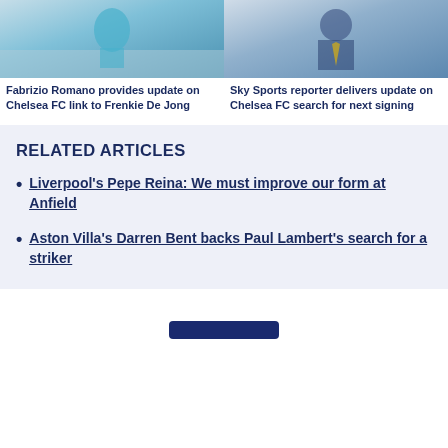[Figure (photo): Soccer player in teal/turquoise kit running on pitch with crowd in background]
Fabrizio Romano provides update on Chelsea FC link to Frenkie De Jong
[Figure (photo): Man in dark suit with gold striped tie at a stadium or press event]
Sky Sports reporter delivers update on Chelsea FC search for next signing
RELATED ARTICLES
Liverpool's Pepe Reina: We must improve our form at Anfield
Aston Villa's Darren Bent backs Paul Lambert's search for a striker